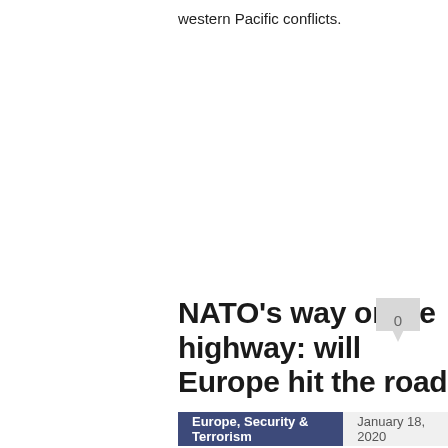western Pacific conflicts.
NATO's way or the highway: will Europe hit the road?
0
Europe, Security & Terrorism
January 18, 2020